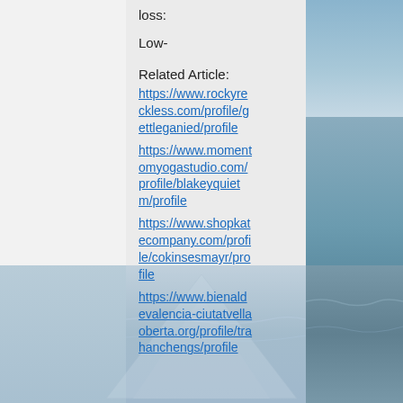loss:
Low-
Related Article:
https://www.rockyreckless.com/profile/gettleganied/profile
https://www.momentomyogastudio.com/profile/blakeyquietm/profile
https://www.shopkatecompany.com/profile/cokinsesmayr/profile
https://www.bienaldevalencia-ciutatvellaoberta.org/profile/trahanchengs/profile
[Figure (photo): Background images: blue sky/water on right side, ocean wave scene at bottom]